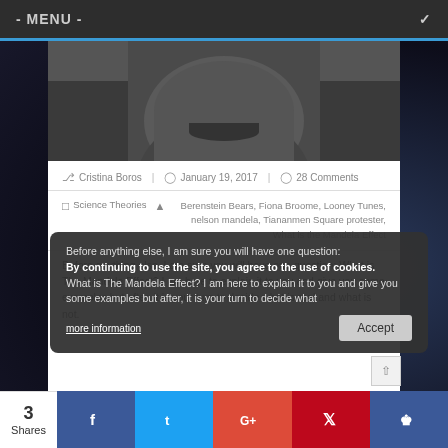- MENU -
[Figure (photo): Black and white close-up photo of a person's face, cropped showing lower face/chin area with a slight smile, wearing a suit]
Cristina Boros | January 19, 2017 | 28 Comments
Science Theories | Berenstein Bears, Fiona Broome, Looney Tunes, nelson mandela, Tiananmen Square protester, What is the Mandela Effect
By continuing to use the site, you agree to the use of cookies.
more information   Accept
Before anything else, I am sure you will have one question: What is The Mandela Effect? I am here to explain it to you and give you some examples but after, it is your turn to decide what is real and what is not.
3 Shares | f | t | G+ | P | crown